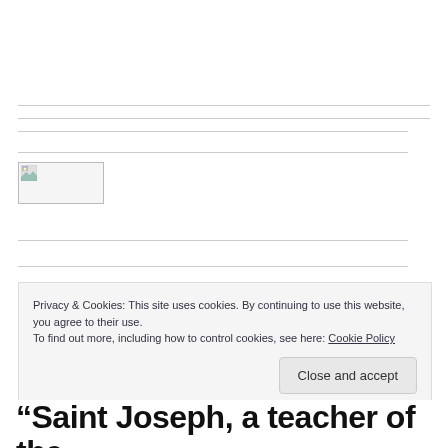[Figure (photo): Broken image placeholder — small image icon with landscape thumbnail indicator in top-left corner]
Privacy & Cookies: This site uses cookies. By continuing to use this website, you agree to their use.
To find out more, including how to control cookies, see here: Cookie Policy
Close and accept
“Saint Joseph, a teacher of the